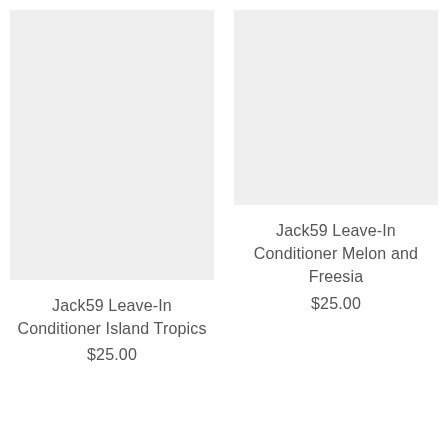[Figure (photo): Product image placeholder for Jack59 Leave-In Conditioner Island Tropics, light gray rectangle]
Jack59 Leave-In Conditioner Island Tropics
$25.00
[Figure (photo): Product image placeholder for Jack59 Leave-In Conditioner Melon and Freesia, light gray rectangle]
Jack59 Leave-In Conditioner Melon and Freesia
$25.00